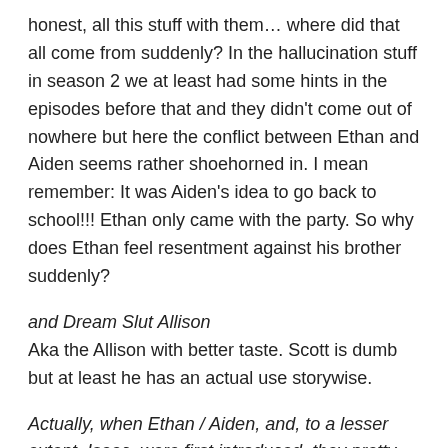honest, all this stuff with them… where did that all come from suddenly? In the hallucination stuff in season 2 we at least had some hints in the episodes before that and they didn't come out of nowhere but here the conflict between Ethan and Aiden seems rather shoehorned in. I mean remember: It was Aiden's idea to go back to school!!! Ethan only came with the party. So why does Ethan feel resentment against his brother suddenly?
and Dream Slut Allison
Aka the Allison with better taste. Scott is dumb but at least he has an actual use storywise.
Actually, when Ethan / Aiden, and, to a lesser extent, Isaac, were first introduced, they pretty